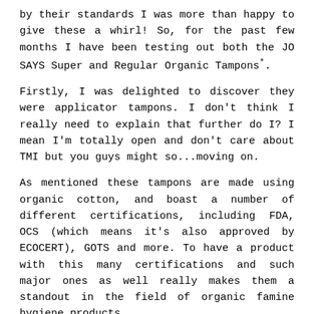by their standards I was more than happy to give these a whirl! So, for the past few months I have been testing out both the JO SAYS Super and Regular Organic Tampons*.
Firstly, I was delighted to discover they were applicator tampons. I don't think I really need to explain that further do I? I mean I'm totally open and don't care about TMI but you guys might so...moving on.
As mentioned these tampons are made using organic cotton, and boast a number of different certifications, including FDA, OCS (which means it's also approved by ECOCERT), GOTS and more. To have a product with this many certifications and such major ones as well really makes them a standout in the field of organic famine hygiene products.
As for performance, like everything this will completely depend on each and every persons body, but for me these to be very comfortable, easy to use and work exactly as traditional tampons would and I've experienced zero leaking. In fact I think they are a